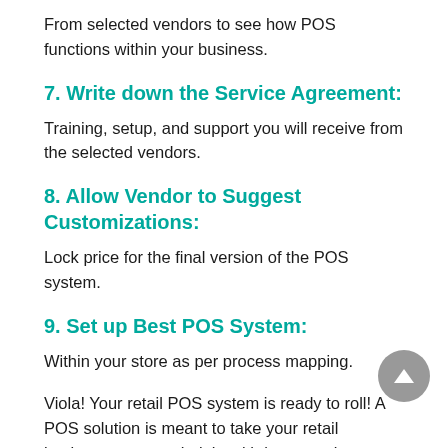From selected vendors to see how POS functions within your business.
7. Write down the Service Agreement:
Training, setup, and support you will receive from the selected vendors.
8. Allow Vendor to Suggest Customizations:
Lock price for the final version of the POS system.
9. Set up Best POS System:
Within your store as per process mapping.
Viola! Your retail POS system is ready to roll! A POS solution is meant to take your retail business to a new height with integrated inventory management,